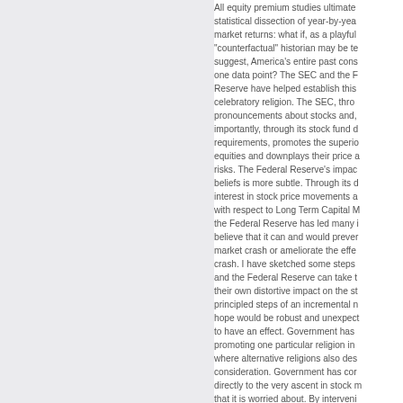All equity premium studies ultimately rest on the statistical dissection of year-by-year stock and bond market returns: what if, as a playful "counterfactual" historian may be tempted to suggest, America's entire past constitutes only one data point? The SEC and the Federal Reserve have helped establish this stock-buying celebratory religion. The SEC, through its pronouncements about stocks and, more importantly, through its stock fund disclosure requirements, promotes the superiority of equities and downplays their price and other risks. The Federal Reserve's impact on beliefs is more subtle. Through its displayed interest in stock price movements and its action with respect to Long Term Capital Management, the Federal Reserve has led many investors to believe that it can and would prevent a large market crash or ameliorate the effects of a crash. I have sketched some steps that the SEC and the Federal Reserve can take to reduce their own distortive impact on the stock market, principled steps of an incremental nature that I hope would be robust and unexpected enough to have an effect. Government has no business promoting one particular religion in a market where alternative religions also deserve consideration. Government has contributed directly to the very ascent in stock market prices that it is worried about. By intervening in the marketplace for investment belief systems, government is, in effect, tampering with a paradigmatic mechanism for...